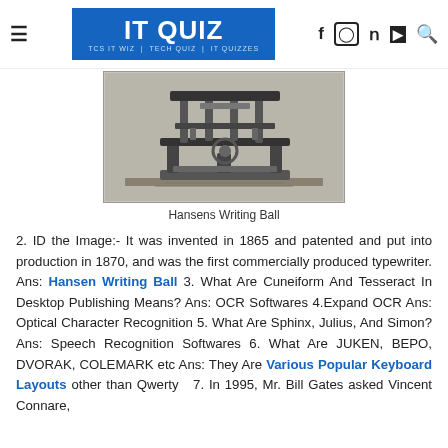IT QUIZ — TCS IT WIZ | TECH QUIZ | IT QUIZZES
[Figure (illustration): Black and white engraving of Hansens Writing Ball, a mechanical early typewriter device on a stand]
Hansens Writing Ball
2. ID the Image:- It was invented in 1865 and patented and put into production in 1870, and was the first commercially produced typewriter. Ans: Hansen Writing Ball 3. What Are Cuneiform And Tesseract In Desktop Publishing Means? Ans: OCR Softwares 4.Expand OCR Ans: Optical Character Recognition 5. What Are Sphinx, Julius, And Simon? Ans: Speech Recognition Softwares 6. What Are JUKEN, BEPO, DVORAK, COLEMARK etc Ans: They Are Various Popular Keyboard Layouts other than Qwerty  7. In 1995, Mr. Bill Gates asked Vincent Connare, a font designer working for Microsoft, to create a